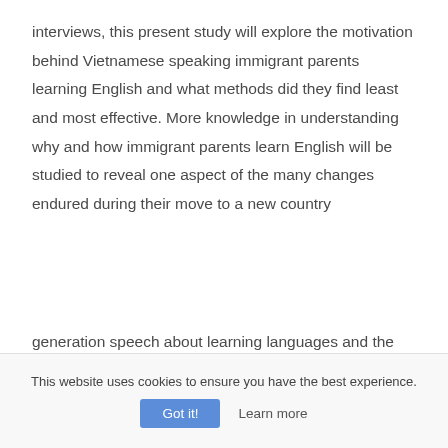interviews, this present study will explore the motivation behind Vietnamese speaking immigrant parents learning English and what methods did they find least and most effective. More knowledge in understanding why and how immigrant parents learn English will be studied to reveal one aspect of the many changes endured during their move to a new country
generation speech about learning languages and the benefits for high school students -
This website uses cookies to ensure you have the best experience.